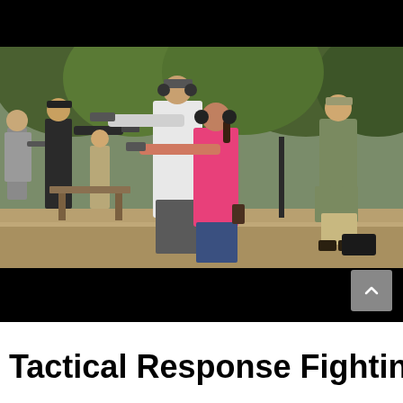[Figure (photo): Outdoor shooting range scene with multiple people in shooting stances aiming handguns. A woman in a pink shirt and protective earmuffs is prominent in the foreground center. A man in a white shirt and cap stands behind her also aiming. Several other shooters are visible on the left. A person in olive shirt stands on the right observing. Background shows green trees. Photo is letterboxed with black bars top and bottom.]
Tactical Response Fighting